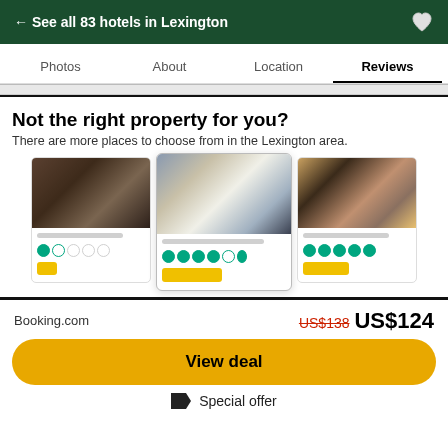← See all 83 hotels in Lexington
Photos  About  Location  Reviews
Not the right property for you?
There are more places to choose from in the Lexington area.
[Figure (photo): Three hotel room photos in a horizontal card row]
Booking.com   US$138  US$124
View deal
Special offer